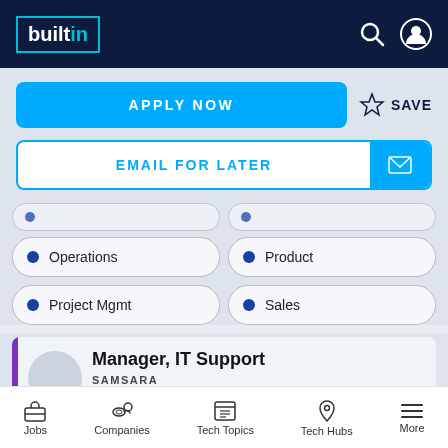builtin
APPLY NOW
SAVE
EMAIL FOR LATER
Operations
Product
Project Mgmt
Sales
Manager, IT Support
SAMSARA
REMOTE
Jobs  Companies  Tech Topics  Tech Hubs  More